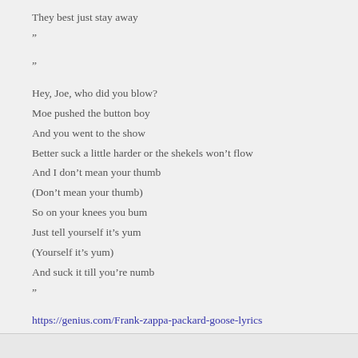They best just stay away
”
”
Hey, Joe, who did you blow?
Moe pushed the button boy
And you went to the show
Better suck a little harder or the shekels won’t flow
And I don’t mean your thumb
(Don’t mean your thumb)
So on your knees you bum
Just tell yourself it’s yum
(Yourself it’s yum)
And suck it till you’re numb
”
https://genius.com/Frank-zappa-packard-goose-lyrics
Log in to Reply